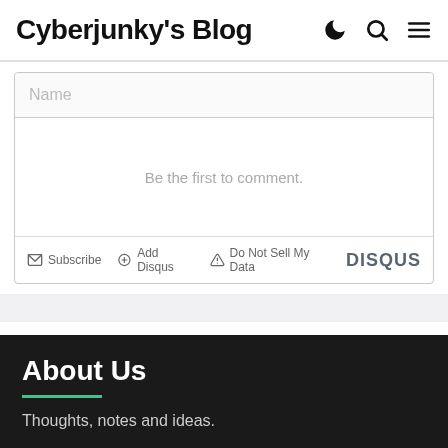Cyberjunky's Blog
Name
Be the first to comment.
Subscribe  Add Disqus  Do Not Sell My Data  DISQUS
About Us
Thoughts, notes and ideas.